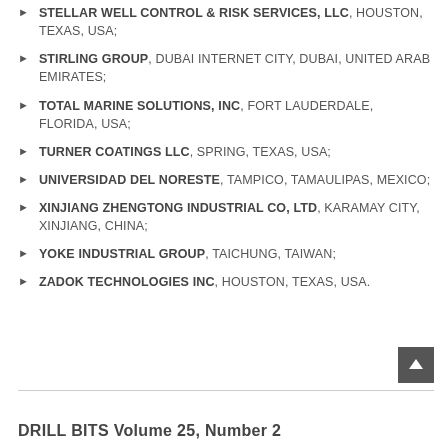STELLAR WELL CONTROL & RISK SERVICES, LLC, HOUSTON, TEXAS, USA;
STIRLING GROUP, DUBAI INTERNET CITY, DUBAI, UNITED ARAB EMIRATES;
TOTAL MARINE SOLUTIONS, INC, FORT LAUDERDALE, FLORIDA, USA;
TURNER COATINGS LLC, SPRING, TEXAS, USA;
UNIVERSIDAD DEL NORESTE, TAMPICO, TAMAULIPAS, MEXICO;
XINJIANG ZHENGTONG INDUSTRIAL CO, LTD, KARAMAY CITY, XINJIANG, CHINA;
YOKE INDUSTRIAL GROUP, TAICHUNG, TAIWAN;
ZADOK TECHNOLOGIES INC, HOUSTON, TEXAS, USA.
DRILL BITS Volume 25, Number 2